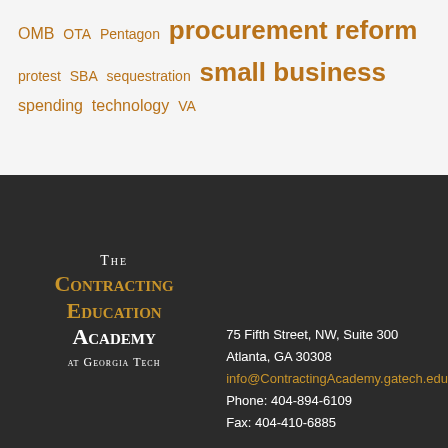OMB OTA Pentagon procurement reform protest SBA sequestration small business spending technology VA
[Figure (logo): The Contracting Education Academy at Georgia Tech logo with text in white and gold on dark background]
75 Fifth Street, NW, Suite 300
Atlanta, GA 30308
info@ContractingAcademy.gatech.edu
Phone: 404-894-6109
Fax: 404-410-6885